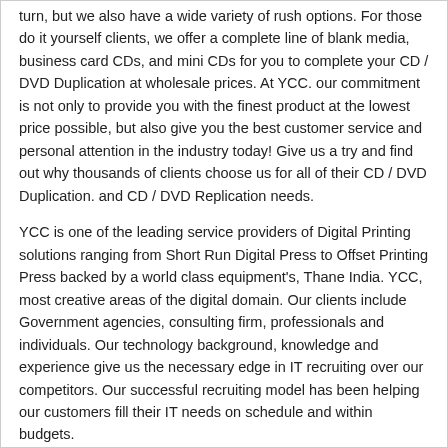turn, but we also have a wide variety of rush options. For those do it yourself clients, we offer a complete line of blank media, business card CDs, and mini CDs for you to complete your CD / DVD Duplication at wholesale prices. At YCC. our commitment is not only to provide you with the finest product at the lowest price possible, but also give you the best customer service and personal attention in the industry today! Give us a try and find out why thousands of clients choose us for all of their CD / DVD Duplication. and CD / DVD Replication needs.
YCC is one of the leading service providers of Digital Printing solutions ranging from Short Run Digital Press to Offset Printing Press backed by a world class equipment's, Thane India. YCC, most creative areas of the digital domain. Our clients include Government agencies, consulting firm, professionals and individuals. Our technology background, knowledge and experience give us the necessary edge in IT recruiting over our competitors. Our successful recruiting model has been helping our customers fill their IT needs on schedule and within budgets.
Providing quality DVD, CD duplication manufacturing, and cassette recording for AD Agencies, Corporations, Government, Printing Industry, and the software industry. Shop wholesale CD's, including standard silver data or DVD, audio CD's, mini diameter CD's, studios, special mini CDs, mini business CD's, CD replication, CD Replication, data CDs.